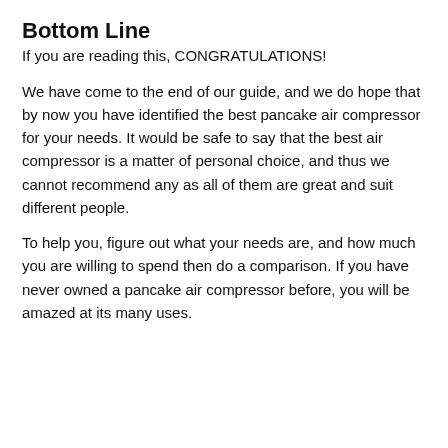Bottom Line
If you are reading this, CONGRATULATIONS!
We have come to the end of our guide, and we do hope that by now you have identified the best pancake air compressor for your needs. It would be safe to say that the best air compressor is a matter of personal choice, and thus we cannot recommend any as all of them are great and suit different people.
To help you, figure out what your needs are, and how much you are willing to spend then do a comparison. If you have never owned a pancake air compressor before, you will be amazed at its many uses.